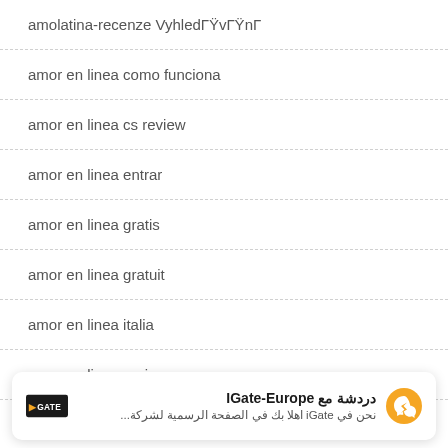amolatina-recenze VyhledГŸvГŸnГ
amor en linea como funciona
amor en linea cs review
amor en linea entrar
amor en linea gratis
amor en linea gratuit
amor en linea italia
amor en linea preise
[Figure (infographic): IGate-Europe chat widget with Arabic text: دردشة مع IGate-Europe, نحن في iGate اهلا بك في الصفحة الرسمية لشركة... with messenger icon]